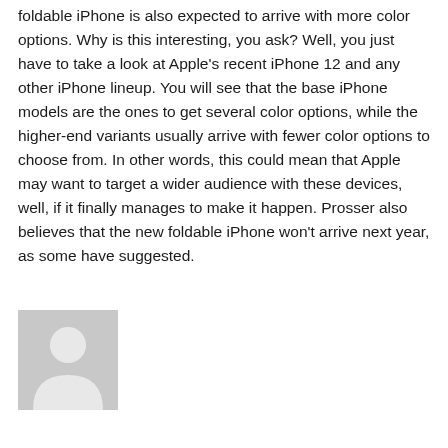foldable iPhone is also expected to arrive with more color options. Why is this interesting, you ask? Well, you just have to take a look at Apple's recent iPhone 12 and any other iPhone lineup. You will see that the base iPhone models are the ones to get several color options, while the higher-end variants usually arrive with fewer color options to choose from. In other words, this could mean that Apple may want to target a wider audience with these devices, well, if it finally manages to make it happen. Prosser also believes that the new foldable iPhone won't arrive next year, as some have suggested.
[Figure (illustration): Generic user avatar placeholder image — grey square background with a white silhouette of a person (head circle and body/shoulders shape)]